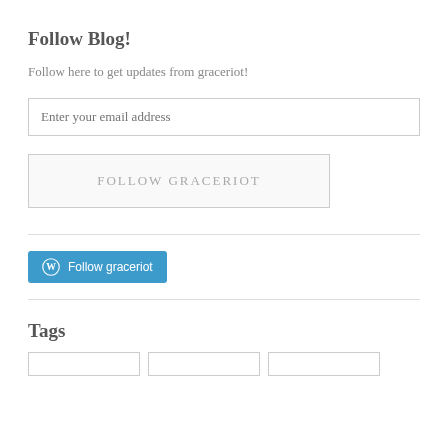Follow Blog!
Follow here to get updates from graceriot!
[Figure (screenshot): Email input field with placeholder text 'Enter your email address']
[Figure (screenshot): Button with text 'FOLLOW GRACERIOT' in uppercase with border]
[Figure (screenshot): WordPress Follow button with WordPress logo and text 'Follow graceriot' on a blue background]
Tags